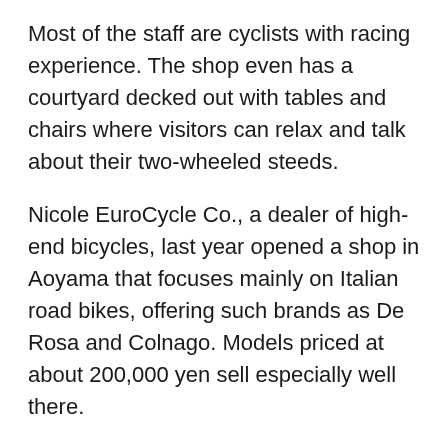Most of the staff are cyclists with racing experience. The shop even has a courtyard decked out with tables and chairs where visitors can relax and talk about their two-wheeled steeds.
Nicole EuroCycle Co., a dealer of high-end bicycles, last year opened a shop in Aoyama that focuses mainly on Italian road bikes, offering such brands as De Rosa and Colnago. Models priced at about 200,000 yen sell especially well there.
Before being converted into a bicycle shop, the store was a Nicole Group dealership for luxury import cars. Yoshinori Sato, who heads the shop, says sales have grown 100-200% since opening.
Bridgestone Cycle Co. opened its first-ever showroom in